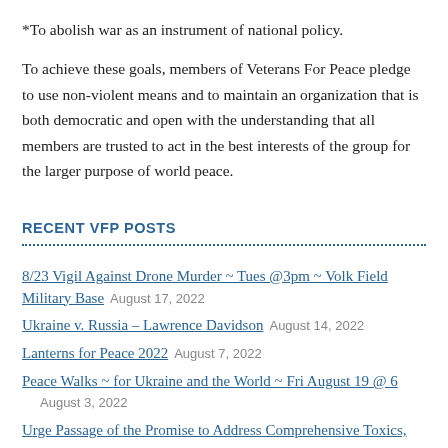*To abolish war as an instrument of national policy.
To achieve these goals, members of Veterans For Peace pledge to use non-violent means and to maintain an organization that is both democratic and open with the understanding that all members are trusted to act in the best interests of the group for the larger purpose of world peace.
RECENT VFP POSTS
8/23 Vigil Against Drone Murder ~ Tues @3pm ~ Volk Field Military Base   August 17, 2022
Ukraine v. Russia – Lawrence Davidson   August 14, 2022
Lanterns for Peace 2022   August 7, 2022
Peace Walks ~ for Ukraine and the World ~ Fri August 19 @ 6   August 3, 2022
Urge Passage of the Promise to Address Comprehensive Toxics,